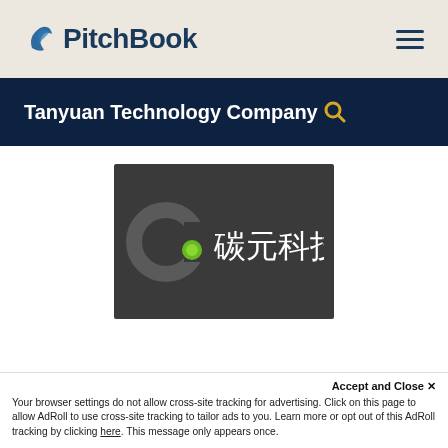PitchBook
Tanyuan Technology Company
[Figure (logo): Tanyuan Technology Company logo — dark grey square background with a stylized grey ring/C shape and a green dot, alongside Chinese characters '碳元科技']
Accept and Close ✕
Your browser settings do not allow cross-site tracking for advertising. Click on this page to allow AdRoll to use cross-site tracking to tailor ads to you. Learn more or opt out of this AdRoll tracking by clicking here. This message only appears once.